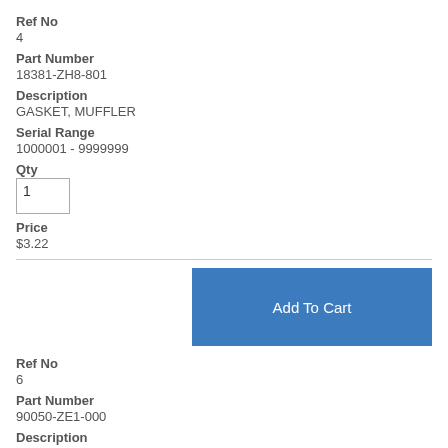Ref No
4
Part Number
18381-ZH8-801
Description
GASKET, MUFFLER
Serial Range
1000001 - 9999999
Qty
1
Price
$3.22
Add To Cart
Ref No
6
Part Number
90050-ZE1-000
Description